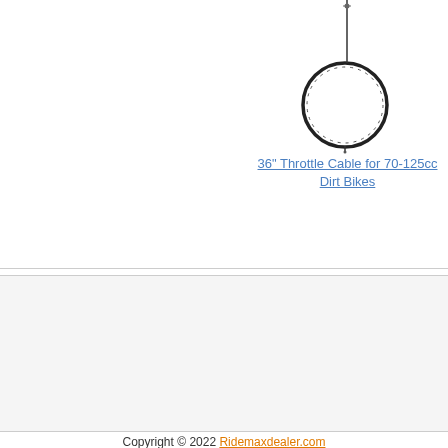[Figure (photo): Product image of a throttle cable coiled in a circle with a straight wire extending upward]
36" Throttle Cable for 70-125cc Dirt Bikes
Look for Similar Items by Category
Dirt Bikes > Dirt Bike Chains and Sprockets
Store Policy
General
Return/Exchange Policy
Order Cancellation Policy
Privacy Policy
Shipment Inspection/damage Policy
Shopping Helper
Sign in/My account
Product Reviews
Product Descriptions
Limitation of liability
Copyright © 2022 Ridemaxdealer.com